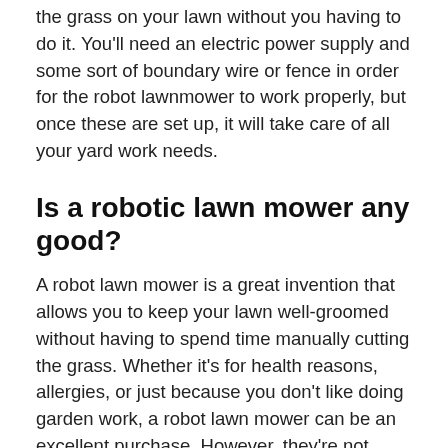the grass on your lawn without you having to do it. You'll need an electric power supply and some sort of boundary wire or fence in order for the robot lawnmower to work properly, but once these are set up, it will take care of all your yard work needs.
Is a robotic lawn mower any good?
A robot lawn mower is a great invention that allows you to keep your lawn well-groomed without having to spend time manually cutting the grass. Whether it's for health reasons, allergies, or just because you don't like doing garden work, a robot lawn mower can be an excellent purchase. However, they're not perfect and there are some